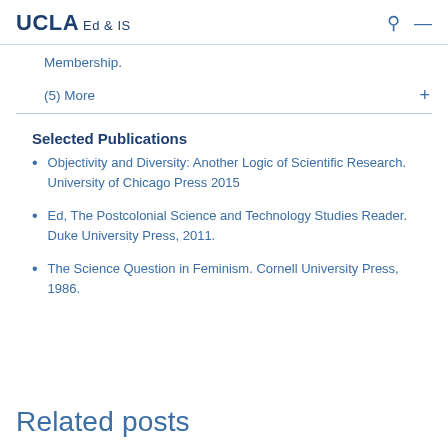UCLA Ed & IS
Membership.
(5) More
Selected Publications
Objectivity and Diversity: Another Logic of Scientific Research. University of Chicago Press 2015
Ed, The Postcolonial Science and Technology Studies Reader. Duke University Press, 2011.
The Science Question in Feminism. Cornell University Press, 1986.
Related posts